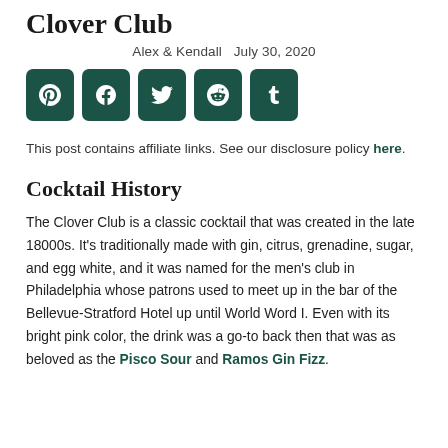Clover Club
Alex & Kendall   July 30, 2020
[Figure (infographic): Five dark green rounded square social share buttons with white icons for Pinterest, Facebook, Twitter, Reddit, and Tumblr]
This post contains affiliate links. See our disclosure policy here.
Cocktail History
The Clover Club is a classic cocktail that was created in the late 18000s. It’s traditionally made with gin, citrus, grenadine, sugar, and egg white, and it was named for the men’s club in Philadelphia whose patrons used to meet up in the bar of the Bellevue-Stratford Hotel up until World Word I. Even with its bright pink color, the drink was a go-to back then that was as beloved as the Pisco Sour and Ramos Gin Fizz.